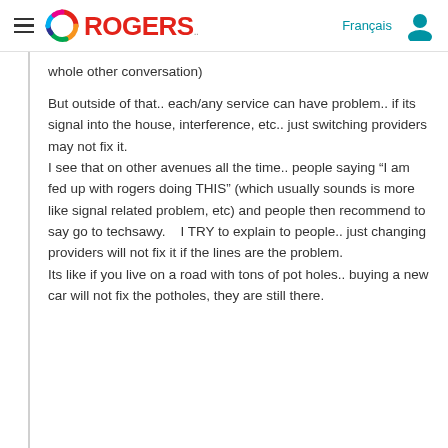[Figure (screenshot): Rogers website navigation bar with hamburger menu, Rogers logo (colorful swirl + red ROGERS text), Français language link, and user account icon]
whole other conversation)
But outside of that.. each/any service can have problem.. if its signal into the house, interference, etc.. just switching providers may not fix it.
I see that on other avenues all the time.. people saying “I am fed up with rogers doing THIS” (which usually sounds is more like signal related problem, etc) and people then recommend to say go to techsawy.    I TRY to explain to people.. just changing providers will not fix it if the lines are the problem.
Its like if you live on a road with tons of pot holes.. buying a new car will not fix the potholes, they are still there.